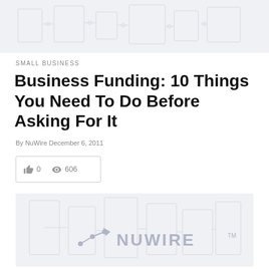[Figure (illustration): Faint gray circuit board / technology background pattern at top of page]
SMALL BUSINESS
Business Funding: 10 Things You Need To Do Before Asking For It
By NuWire December 6, 2011
[Figure (infographic): Stats box with thumbs up icon showing 0 likes and eye icon showing 606 views]
[Figure (logo): NuWire logo with circuit-board arrow graphic on light gray background at bottom of page]